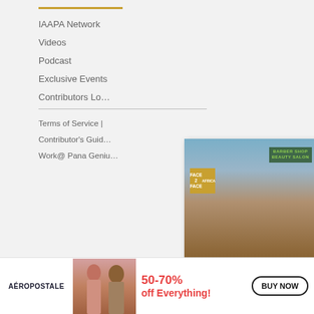IAAPA Network
Videos
Podcast
Exclusive Events
Contributors Lo…
Terms of Service |
Contributor's Guid…
Work@ Pana Geniu…
[Figure (photo): Street-level photo of a barber shop / beauty salon storefront with brick facade, white curtains in glass windows, and a green illuminated sign reading 'Barber Shop Beauty Salon'. A Face2Face Africa logo appears top left of the card.]
The rich Black history of thePortl… on NationalRegister of Historic Pl
We use cookies to collect and analyse information on site performance and usage, and to enhance and customise content and advertising. By clicking 'Accept' you are clicking into our…
[Figure (photo): Aéropostale advertisement showing two female models, with text '50-70% off Everything!' and a BUY NOW button.]